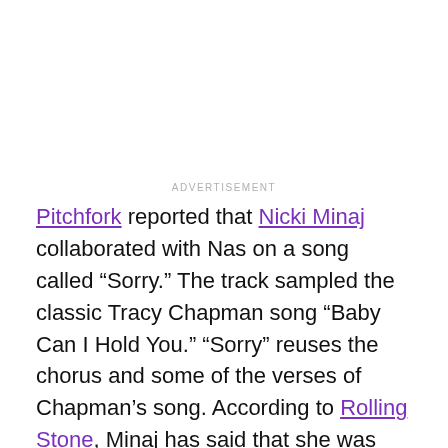ADVERTISEMENT
Pitchfork reported that Nicki Minaj collaborated with Nas on a song called “Sorry.” The track sampled the classic Tracy Chapman song “Baby Can I Hold You.” “Sorry” reuses the chorus and some of the verses of Chapman’s song. According to Rolling Stone, Minaj has said that she was not aware that the song sampled Chapman until after she recorded it. “Sorry” was originally intended to be featured on Minaj’s album Queen.